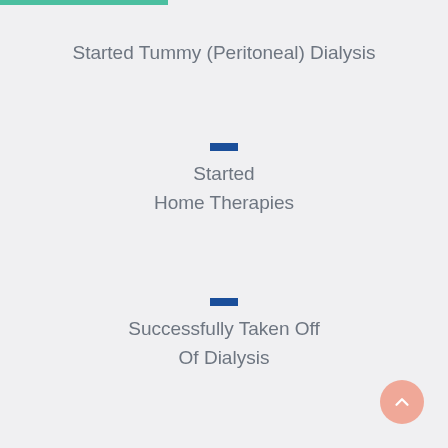Started Tummy (Peritoneal) Dialysis
Started Home Therapies
Successfully Taken Off Of Dialysis